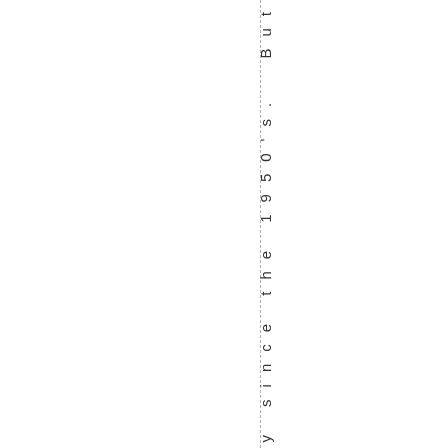very long way since the 1950's. But